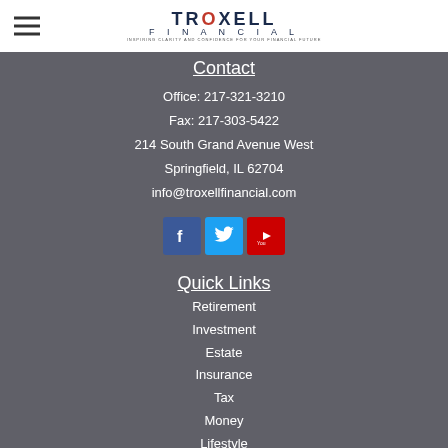[Figure (logo): Troxell Financial logo with company name and tagline]
Contact
Office: 217-321-3210
Fax: 217-303-5422
214 South Grand Avenue West
Springfield, IL 62704
info@troxellfinancial.com
[Figure (illustration): Social media icons: Facebook (blue), Twitter (light blue), YouTube (red)]
Quick Links
Retirement
Investment
Estate
Insurance
Tax
Money
Lifestyle
All Articles
All Videos